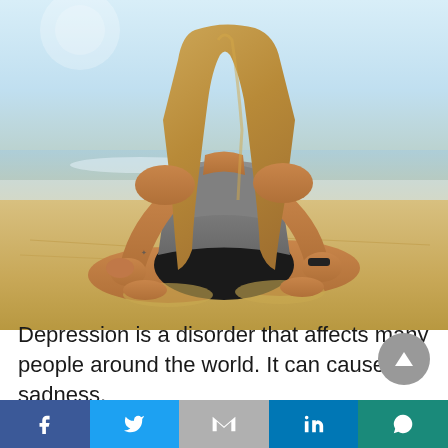[Figure (photo): Woman sitting in lotus yoga meditation pose on a beach, seen from behind/side, long blonde hair, gray tank top, black shorts, fitness tracker on wrist, sandy beach with ocean in background]
Depression is a disorder that affects many people around the world. It can cause sadness,
[Figure (infographic): Social share bar with Facebook, Twitter, Gmail/Google, LinkedIn, and WhatsApp icons]